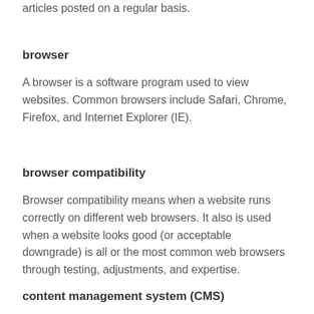articles posted on a regular basis.
browser
A browser is a software program used to view websites. Common browsers include Safari, Chrome, Firefox, and Internet Explorer (IE).
browser compatibility
Browser compatibility means when a website runs correctly on different web browsers. It also is used when a website looks good (or acceptable downgrade) is all or the most common web browsers through testing, adjustments, and expertise.
content management system (CMS)